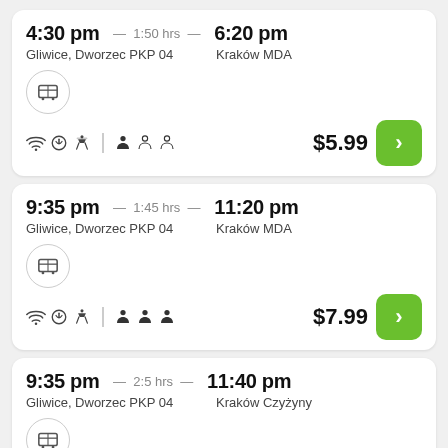4:30 pm — 1:50 hrs — 6:20 pm
Gliwice, Dworzec PKP 04 | Kraków MDA
$5.99
9:35 pm — 1:45 hrs — 11:20 pm
Gliwice, Dworzec PKP 04 | Kraków MDA
$7.99
9:35 pm — 2:5 hrs — 11:40 pm
Gliwice, Dworzec PKP 04 | Kraków Czyżyny
$7.99